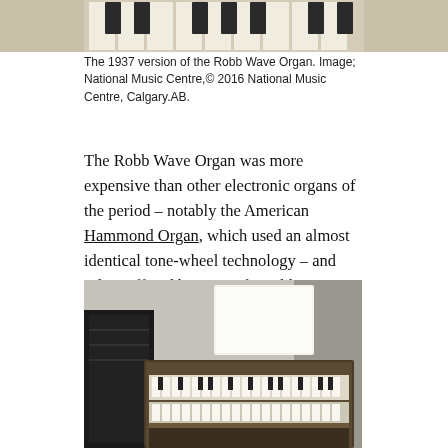[Figure (photo): Top portion of the 1937 version of the Robb Wave Organ, showing white keys of the keyboard from above, cropped.]
The 1937 version of the Robb Wave Organ. Image; National Music Centre,© 2016 National Music Centre, Calgary.AB.
The Robb Wave Organ was more expensive than other electronic organs of the period – notably the American Hammond Organ, which used an almost identical tone-wheel technology – and sales suffered because of World War II. The last remaining Wave Organ prototype is preserved at the Canada Science and Technology Museum in Ontario.
[Figure (photo): Black and white photograph of the Robb Wave Organ showing its keyboard manuals and a music stand with sheet music, with speaker cabinet visible to the left.]